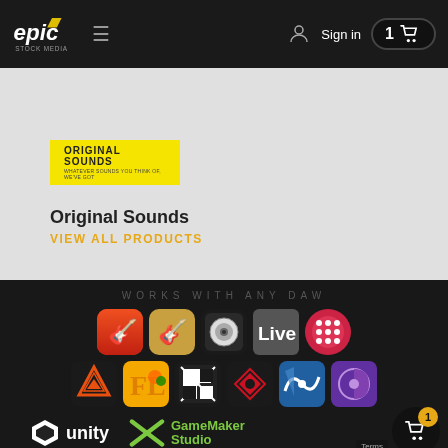[Figure (screenshot): Epic Stock Media website header with logo, hamburger menu, sign in and cart button]
[Figure (logo): Original Sounds yellow badge/logo]
Original Sounds
VIEW ALL PRODUCTS
WORKS WITH ANY DAW
[Figure (infographic): Row of DAW application icons: GarageBand, GarageBand (alt), Logic Pro X, Ableton Live, Bitwig; second row: Native Instruments Komplete Kontrol, FL Studio, Reason, Cakewalk, Dorico/Notion, Nuendo/Cubase]
[Figure (logo): Unity logo with text]
[Figure (logo): GameMaker Studio logo with text]